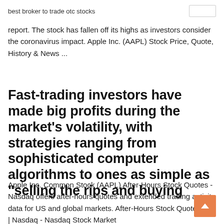best broker to trade otc stocks
report. The stock has fallen off its highs as investors consider the coronavirus impact. Apple Inc. (AAPL) Stock Price, Quote, History & News ...
Fast-trading investors have made big profits during the market’s volatility, with strategies ranging from sophisticated computer algorithms to ones as simple as “selling the rips and buying
Apple Inc. Common Stock (AAPL) After-Hours Stock Quotes - Nasdaq offers after-hours quotes and extended trading activity data for US and global markets. After-Hours Stock Quote Data | Nasdaq - Nasdaq Stock Market